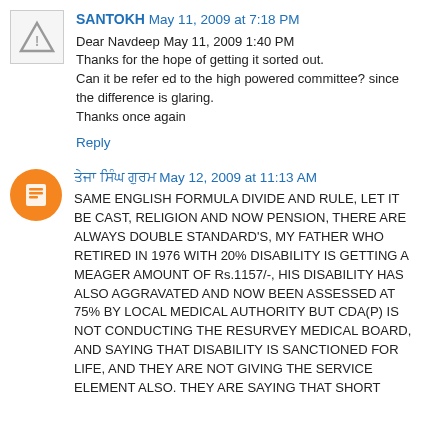SANTOKH May 11, 2009 at 7:18 PM
Dear Navdeep May 11, 2009 1:40 PM
Thanks for the hope of getting it sorted out.
Can it be refer ed to the high powered committee? since the difference is glaring.
Thanks once again
Reply
ਤੇਜਾ ਸਿੰਘ ਗੁਰਮ May 12, 2009 at 11:13 AM
SAME ENGLISH FORMULA DIVIDE AND RULE, LET IT BE CAST, RELIGION AND NOW PENSION, THERE ARE ALWAYS DOUBLE STANDARD'S, MY FATHER WHO RETIRED IN 1976 WITH 20% DISABILITY IS GETTING A MEAGER AMOUNT OF Rs.1157/-, HIS DISABILITY HAS ALSO AGGRAVATED AND NOW BEEN ASSESSED AT 75% BY LOCAL MEDICAL AUTHORITY BUT CDA(P) IS NOT CONDUCTING THE RESURVEY MEDICAL BOARD, AND SAYING THAT DISABILITY IS SANCTIONED FOR LIFE, AND THEY ARE NOT GIVING THE SERVICE ELEMENT ALSO. THEY ARE SAYING THAT SHORT